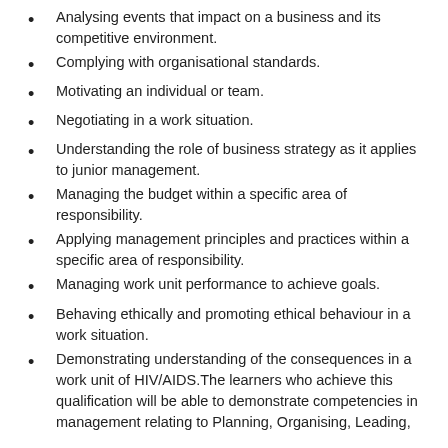Analysing events that impact on a business and its competitive environment.
Complying with organisational standards.
Motivating an individual or team.
Negotiating in a work situation.
Understanding the role of business strategy as it applies to junior management.
Managing the budget within a specific area of responsibility.
Applying management principles and practices within a specific area of responsibility.
Managing work unit performance to achieve goals.
Behaving ethically and promoting ethical behaviour in a work situation.
Demonstrating understanding of the consequences in a work unit of HIV/AIDS.The learners who achieve this qualification will be able to demonstrate competencies in management relating to Planning, Organising, Leading,